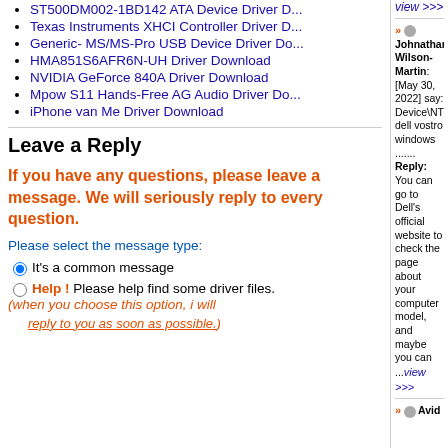ST500DM002-1BD142 ATA Device Driver D...
Texas Instruments XHCI Controller Driver D...
Generic- MS/MS-Pro USB Device Driver Do...
HMA851S6AFR6N-UH Driver Download
NVIDIA GeForce 840A Driver Download
Mpow S11 Hands-Free AG Audio Driver Do...
iPhone van Me Driver Download
Leave a Reply
If you have any questions, please leave a message. We will seriously reply to every question.
Please select the message type:
It's a common message
Help ! Please help find some driver files. (when you choose this option, i will reply to you as soon as possible.)
view >>>
» Johnathan Wilson-Martin: [May 30, 2022] say: Device\NTPNP_PCI0023DRIVERDevice\NTPNP_PCI0024DRIVERDevice\NTPNP_PCI0025DRIVERMy dell vostro windows .......
Reply: You can go to Dell's official website to check the page about your computer model, and maybe you can ...view >>>
» Avid